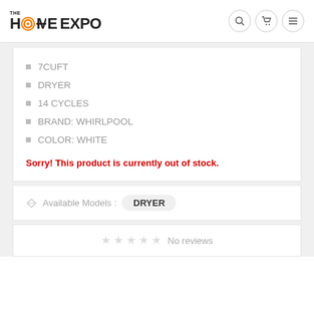[Figure (logo): The Home Expo logo with orange circle O]
7CUFT
DRYER
14 CYCLES
BRAND: WHIRLPOOL
COLOR: WHITE
Sorry! This product is currently out of stock.
Available Models : DRYER
No reviews